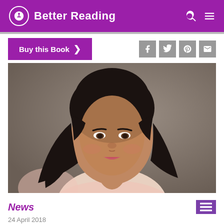Better Reading
[Figure (photo): Portrait photo of Lauren Chater, a woman with dark curly hair, looking at the camera, against a gray-brown background, wearing a light pink top.]
News
24 April 2018
The secret messages woven into shawls: words by Lauren Chater